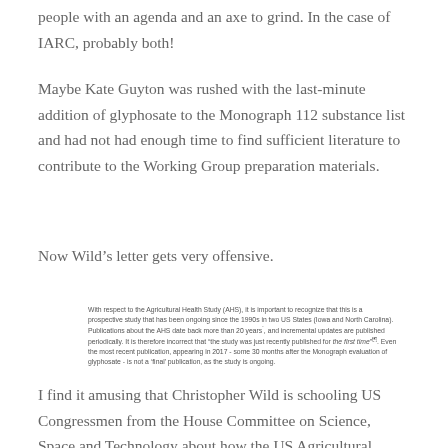people with an agenda and an axe to grind. In the case of IARC, probably both!
Maybe Kate Guyton was rushed with the last-minute addition of glyphosate to the Monograph 112 substance list and had not had enough time to find sufficient literature to contribute to the Working Group preparation materials.
Now Wild’s letter gets very offensive.
[Figure (screenshot): Quoted text block: With respect to the Agricultural Health Study (AHS), it is important to recognize that this is a prospective study that has been ongoing since the 1990s in two US States (Iowa and North Carolina). Publications about the AHS date back more than 20 years´, and incremental updates are published periodically. It is therefore incorrect that “the study was just recently published for the first time”’. Even the most recent publication, appearing in 2017 - some 30 months after the Monograph evaluation of glyphosate - is not a ‘final’ publication, as the study is ongoing.]
I find it amusing that Christopher Wild is schooling US Congressmen from the House Committee on Science, Space and Technology about how the US Agricultural